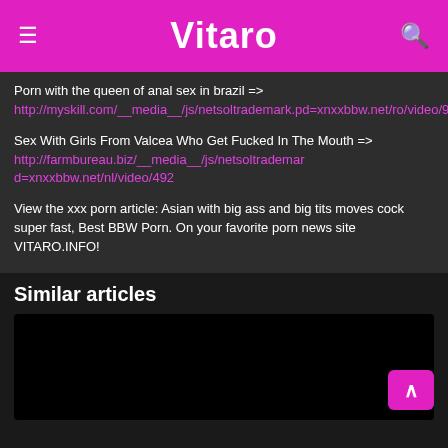Vitaro
Porn with the queen of anal sex in brazil => http://myskill.com/__media__/js/netsoltrademark.pd=xnxxbbw.net/ro/video/978
Sex With Girls From Valcea Who Get Fucked In The Mouth => http://farmbureau.biz/__media__/js/netsoltrademar d=xnxxbbw.net/nl/video/492
View the xxx porn article: Asian with big ass and big tits moves cock super fast, Best BBW Porn. On your favorite porn news site VITARO.INFO!
Similar articles
[Figure (photo): Black thumbnail area for a similar article]